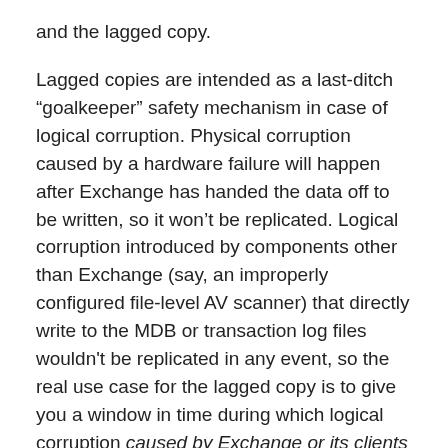and the lagged copy.

Lagged copies are intended as a last-ditch “goalkeeper” safety mechanism in case of logical corruption. Physical corruption caused by a hardware failure will happen after Exchange has handed the data off to be written, so it won’t be replicated. Logical corruption introduced by components other than Exchange (say, an improperly configured file-level AV scanner) that directly write to the MDB or transaction log files wouldn't be replicated in any event, so the real use case for the lagged copy is to give you a window in time during which logical corruption caused by Exchange or its clients hasn’t yet been replicated to the lagged copy. Obviously the size of this window depends on the length of the lag interval, and whether or not it is sufficient for you to a) notice that the